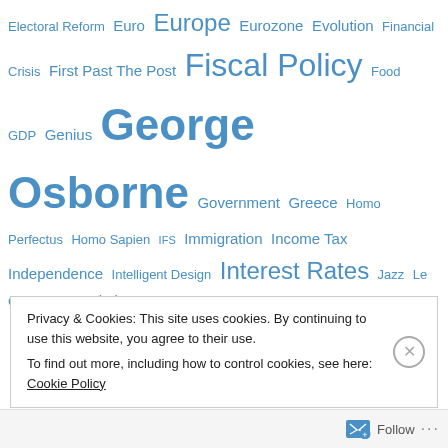Electoral Reform Euro Europe Eurozone Evolution Financial Crisis First Past The Post Fiscal Policy Food GDP Genius George Osborne Government Greece Homo Perfectus Homo Sapien IFS Immigration Income Tax Independence Intelligent Design Interest Rates Jazz Le Gavroche Merkel NHS Office Furniture Osborne Paul Smith Politics Polls Probability Puzzle Question Time Recession Recovery Referendum Religion Republicans Restaurant Science Scientology Scotland Spending Cuts Stationery Club Statistics Surveys Sushi Tax The Big Green Bookshop The King of Toss Toilet Tuition Fees Twitter USA Vince Cable
Privacy & Cookies: This site uses cookies. By continuing to use this website, you agree to their use. To find out more, including how to control cookies, see here: Cookie Policy
Close and accept
Follow